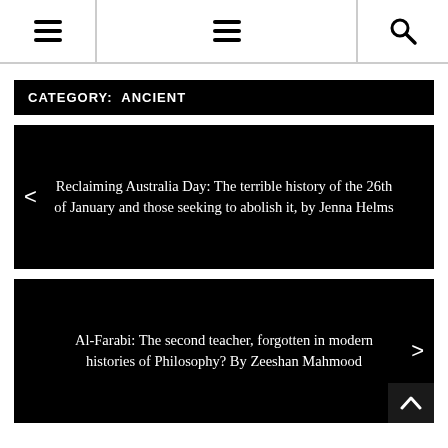Navigation bar with hamburger menu (left), hamburger menu (center), search icon (right)
CATEGORY:  ANCIENT
Reclaiming Australia Day: The terrible history of the 26th of January and those seeking to abolish it, by Jenna Helms
Al-Farabi: The second teacher, forgotten in modern histories of Philosophy? By Zeeshan Mahmood